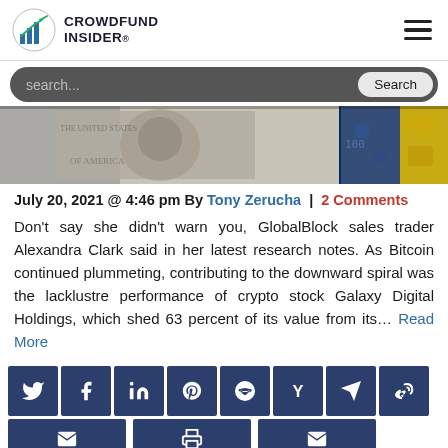CROWDFUND INSIDER
[Figure (photo): Close-up of currency notes (US dollars and other currencies) in various colors — blue, grey, gold tones]
July 20, 2021 @ 4:46 pm By Tony Zerucha | 2 Comments
Don't say she didn't warn you, GlobalBlock sales trader Alexandra Clark said in her latest research notes. As Bitcoin continued plummeting, contributing to the downward spiral was the lacklustre performance of crypto stock Galaxy Digital Holdings, which shed 63 percent of its value from its… Read More
[Figure (infographic): Social media sharing icons row: Twitter, Facebook, LinkedIn, Pinterest, Reddit, Hacker News (Y), Telegram, Weibo]
[Figure (infographic): Second row of social sharing icons: email, print, email (partial)]